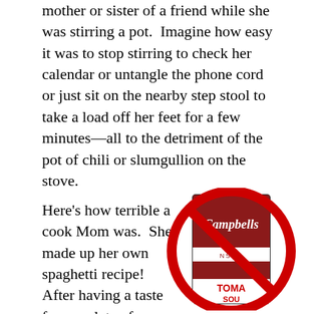mother or sister of a friend while she was stirring a pot.  Imagine how easy it was to stop stirring to check her calendar or untangle the phone cord or just sit on the nearby step stool to take a load off her feet for a few minutes—all to the detriment of the pot of chili or slumgullion on the stove.
Here's how terrible a cook Mom was.  She made up her own spaghetti recipe!  After having a taste from a plate of spaghetti my
[Figure (illustration): A Campbell's Tomato Soup can with a large red 'no' or prohibition symbol (red circle with diagonal slash) overlaid on top of it.]